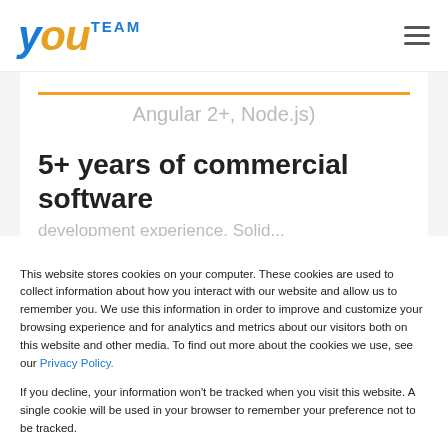YouTeam [logo] [hamburger menu]
Angular 2+, Node.js)
5+ years of commercial software
This website stores cookies on your computer. These cookies are used to collect information about how you interact with our website and allow us to remember you. We use this information in order to improve and customize your browsing experience and for analytics and metrics about our visitors both on this website and other media. To find out more about the cookies we use, see our Privacy Policy.
If you decline, your information won’t be tracked when you visit this website. A single cookie will be used in your browser to remember your preference not to be tracked.